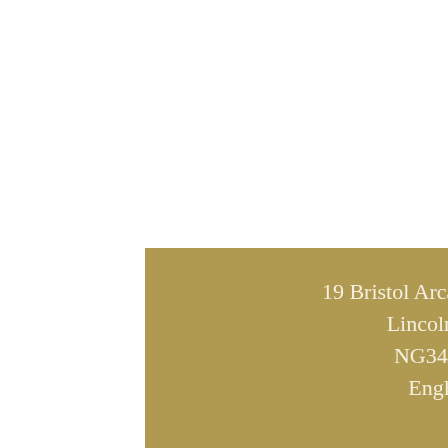19 Bristol Arcade, Sleaford, Lincolnshire, NG34 8AH England